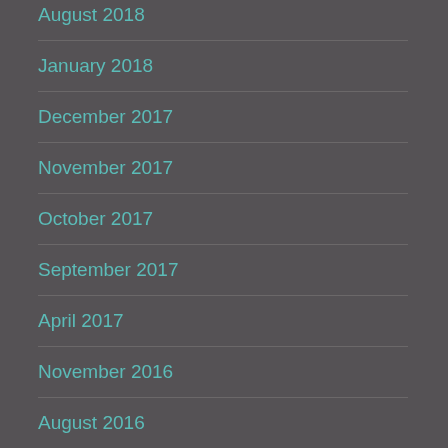August 2018
January 2018
December 2017
November 2017
October 2017
September 2017
April 2017
November 2016
August 2016
December 2015